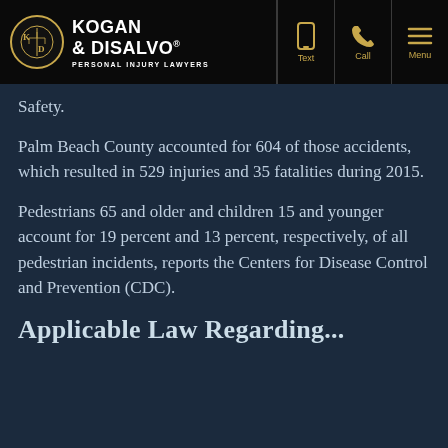Kogan & DiSalvo Personal Injury Lawyers | Text | Call | Menu
Safety.
Palm Beach County accounted for 604 of those accidents, which resulted in 529 injuries and 35 fatalities during 2015.
Pedestrians 65 and older and children 15 and younger account for 19 percent and 13 percent, respectively, of all pedestrian incidents, reports the Centers for Disease Control and Prevention (CDC).
Applicable Law Regarding...